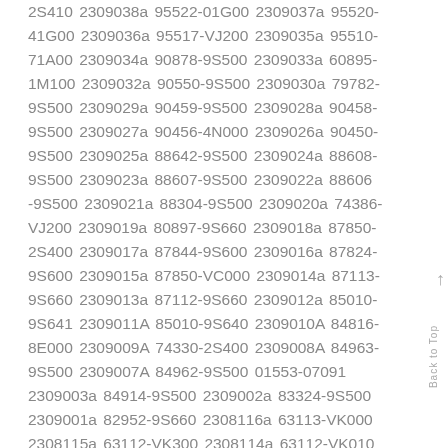2S410 2309038a 95522-01G00 2309037a 95520-41G00 2309036a 95517-VJ200 2309035a 95510-71A00 2309034a 90878-9S500 2309033a 60895-1M100 2309032a 90550-9S500 2309030a 79782-9S500 2309029a 90459-9S500 2309028a 90458-9S500 2309027a 90456-4N000 2309026a 90450-9S500 2309025a 88642-9S500 2309024a 88608-9S500 2309023a 88607-9S500 2309022a 88606 -9S500 2309021a 88304-9S500 2309020a 74386-VJ200 2309019a 80897-9S660 2309018a 87850-2S400 2309017a 87844-9S600 2309016a 87824-9S600 2309015a 87850-VC000 2309014a 87113-9S660 2309013a 87112-9S660 2309012a 85010-9S641 2309011A 85010-9S640 2309010A 84816-8E000 2309009A 74330-2S400 2309008A 84963-9S500 2309007A 84962-9S500 01553-07091 2309003a 84914-9S500 2309002a 83324-9S500 2309001a 82952-9S660 2308116a 63113-VK000 2308115a 63112-VK300 2308114a 63112-VK010 2308113a 63112-VK000 2308111a 76911-9S600 2308110a 25567-VB000 2308109a 68630-VJ210